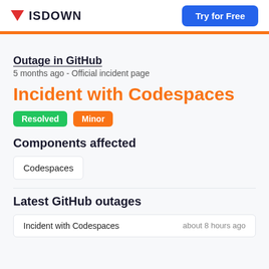ISDOWN | Try for Free
Outage in GitHub
5 months ago - Official incident page
Incident with Codespaces
Resolved | Minor
Components affected
Codespaces
Latest GitHub outages
Incident with Codespaces   about 8 hours ago